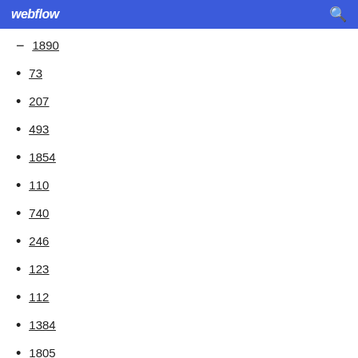webflow
1890
73
207
493
1854
110
740
246
123
112
1384
1805
1029